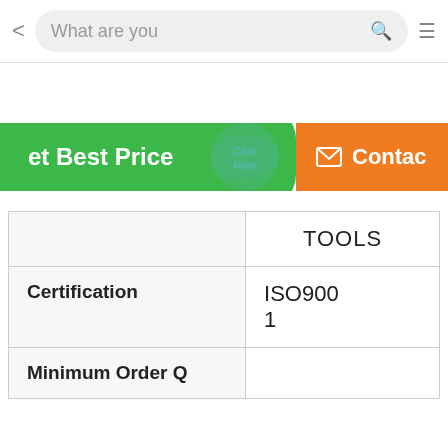[Figure (screenshot): Mobile app top navigation bar with back arrow, search box reading 'What are you', a green search icon, and a hamburger menu icon.]
[Figure (screenshot): Two call-to-action buttons: a green rounded button labeled 'et Best Price' (Get Best Price, partially cropped) and an orange button with envelope icon labeled 'Contac' (Contact, partially cropped). A 'Chat Now' watermark circle overlaps in the center.]
|  | TOOLS |
| Certification | ISO9001 |
| Minimum Order Q | ... |